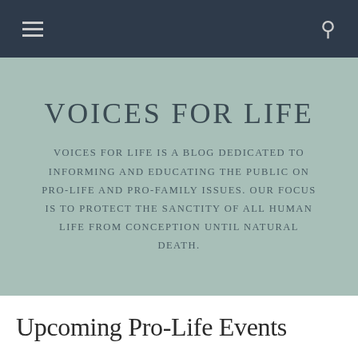Navigation bar with hamburger menu and search icon
VOICES FOR LIFE
VOICES FOR LIFE IS A BLOG DEDICATED TO INFORMING AND EDUCATING THE PUBLIC ON PRO-LIFE AND PRO-FAMILY ISSUES. OUR FOCUS IS TO PROTECT THE SANCTITY OF ALL HUMAN LIFE FROM CONCEPTION UNTIL NATURAL DEATH.
Upcoming Pro-Life Events